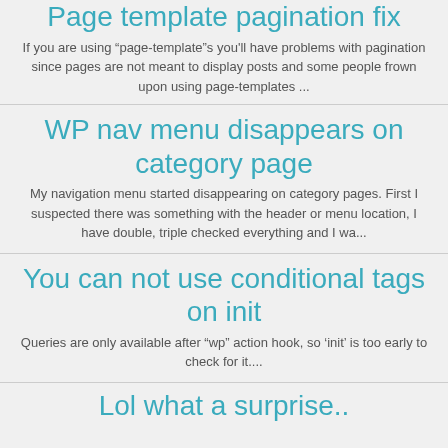Page template pagination fix
If you are using “page-template”s you'll have problems with pagination since pages are not meant to display posts and some people frown upon using page-templates ...
WP nav menu disappears on category page
My navigation menu started disappearing on category pages. First I suspected there was something with the header or menu location, I have double, triple checked everything and I wa...
You can not use conditional tags on init
Queries are only available after “wp” action hook, so ‘init’ is too early to check for it....
Lol what a surprise..